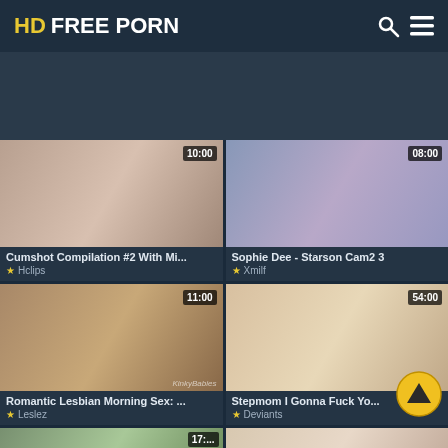HD FREE PORN
[Figure (screenshot): Video thumbnail grid of adult video website showing 4 video thumbnails with titles and sources]
Cumshot Compilation #2 With Mi... ★ Hclips
Sophie Dee - Starson Cam2 3 ★ Xmilf
Romantic Lesbian Morning Sex: ... ★ Leslez
Stepmom I Gonna Fuck Yo... ★ Deviants